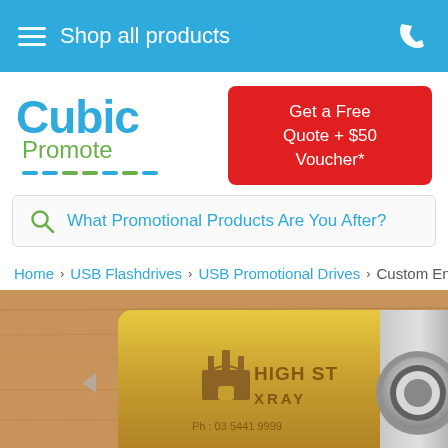Shop all products
[Figure (logo): Cubic Promote logo — 'Cubic' in blue bold, 'Promote' in green, with dashed underline decoration]
Get a Free Quote + $50 Voucher*
What Promotional Products Are You After?
Home > USB Flashdrives > USB Promotional Drives > Custom Engrav...
[Figure (photo): Close-up photo of a gold custom engraved USB flash drive with 'HIGH ST XRAY Ph : 03 5441 9999' branding, on a wooden background]